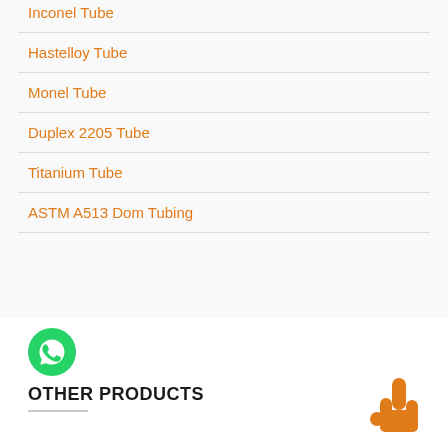Inconel Tube
Hastelloy Tube
Monel Tube
Duplex 2205 Tube
Titanium Tube
ASTM A513 Dom Tubing
[Figure (logo): WhatsApp green circle logo icon]
OTHER PRODUCTS
[Figure (illustration): Orange pointing hand/cursor icon in bottom right corner]